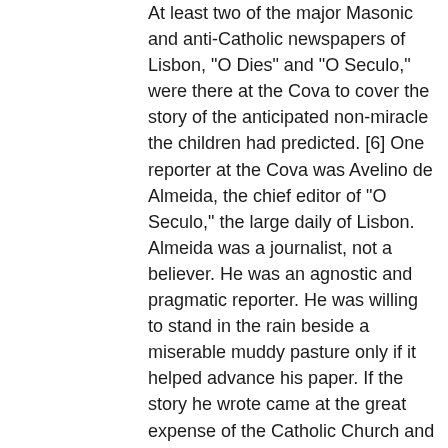At least two of the major Masonic and anti-Catholic newspapers of Lisbon, "O Dies" and "O Seculo," were there at the Cova to cover the story of the anticipated non-miracle the children had predicted. [6] One reporter at the Cova was Avelino de Almeida, the chief editor of "O Seculo," the large daily of Lisbon. Almeida was a journalist, not a believer. He was an agnostic and pragmatic reporter. He was willing to stand in the rain beside a miserable muddy pasture only if it helped advance his paper. If the story he wrote came at the great expense of the Catholic Church and its foolish, peasant-pleasing devotions, so be it. Confident in the fiasco that was to come, and ready to cover the disappointed and angry pilgrims who would have soaked and dirtied themselves for nothing, he knew this would be a productive day. But later that evening of October 13, 1917, as he nursed his wounded anti-church prejudices and preconceptions, he uncharacteristically realized that his first responsibility was to the truth.
He had proved by the following report that the facts and lights before his eyes overwhelmed the dissent and darkness expected by his Masonic and prejudiced readers.